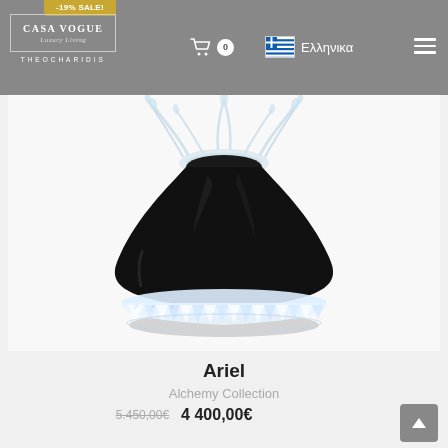-19% SALE!
[Figure (logo): Casa Vogue Luxury Living Theocharidis logo in bordered box]
0
Ελληνικα
[Figure (photo): Black crystal glass vase with clear cut-crystal base and floral water splash at top - Ariel from Alchemy Collection]
Ariel
Alchemy Collection
5.450,00€  4 400,00€